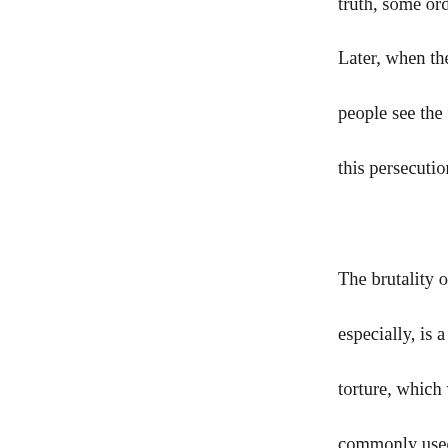truth, some ordinary people recognized that Fa... Later, when the Nine Commentaries on the Co... people see the true nature of the CCP and reno... this persecution is indeed taking place, but still...
The brutality of the persecution is beyond our i... especially, is a level of evil never before seen o... torture, which were never even described in the... commonly used in China against Falun Gong p... chance to know about it because the evil forces...
Now that Teacher's article "Thoroughly Dissolv...
has been published, Falun Dafa practitioners w... persecution that has lasted for six years will be... be greatly shocked by the bloody facts and mak... interference.
What Teacher said is the Fa. This article indica...